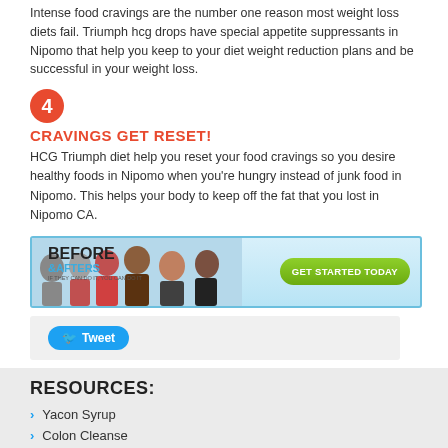Intense food cravings are the number one reason most weight loss diets fail. Triumph hcg drops have special appetite suppressants in Nipomo that help you keep to your diet weight reduction plans and be successful in your weight loss.
4 CRAVINGS GET RESET!
HCG Triumph diet help you reset your food cravings so you desire healthy foods in Nipomo when you're hungry instead of junk food in Nipomo. This helps your body to keep off the fat that you lost in Nipomo CA.
[Figure (infographic): Before & Afters promotional banner with group photo and green Get Started Today button]
[Figure (infographic): Tweet button on gray background]
RESOURCES:
Yacon Syrup
Colon Cleanse
Green Coffee Bean
Pure Garcinia Cambogia